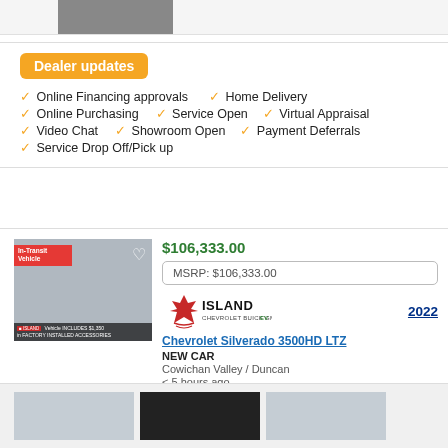[Figure (photo): Partial vehicle thumbnail at top of page]
Dealer updates
Online Financing approvals
Home Delivery
Online Purchasing
Service Open
Virtual Appraisal
Video Chat
Showroom Open
Payment Deferrals
Service Drop Off/Pick up
[Figure (photo): Vehicle listing thumbnail showing white Chevrolet Silverado 3500HD truck, labeled In-Transit Vehicle, includes $1,350 in factory installed accessories]
$106,333.00
MSRP: $106,333.00
[Figure (logo): Island Chevrolet Buick GMC EV dealer logo with red maple leaf]
2022
Chevrolet Silverado 3500HD LTZ
NEW CAR
Cowichan Valley / Duncan
< 5 hours ago
[Figure (photo): Three partial vehicle thumbnails at bottom of page]